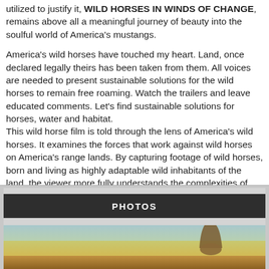utilized to justify it, WILD HORSES IN WINDS OF CHANGE, remains above all a meaningful journey of beauty into the soulful world of America's mustangs.
America's wild horses have touched my heart. Land, once declared legally theirs has been taken from them. All voices are needed to present sustainable solutions for the wild horses to remain free roaming. Watch the trailers and leave educated comments. Let's find sustainable solutions for horses, water and habitat.
This wild horse film is told through the lens of America's wild horses. It examines the forces that work against wild horses on America's range lands. By capturing footage of wild horses, born and living as highly adaptable wild inhabitants of the land, the viewer more fully understands the complexities of the wild horse situation facing America's land for
PHOTOS
[Figure (photo): Photograph taken from horseback showing a wide open field/range land with horses, grassland, trees, and overcast sky in the background. Appears to be taken from the perspective of someone riding a horse, with the horse's ears visible in the lower portion.]